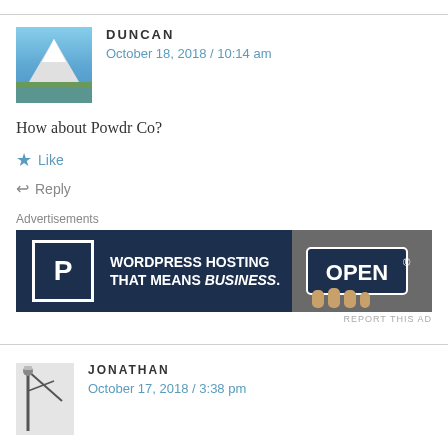[Figure (photo): Avatar photo of Duncan showing mountain landscape with snow and lake]
DUNCAN
October 18, 2018 / 10:14 am
How about Powdr Co?
Like
Reply
Advertisements
[Figure (screenshot): WordPress hosting advertisement banner: 'WORDPRESS HOSTING THAT MEANS BUSINESS.' with P logo and OPEN sign]
REPORT THIS AD
[Figure (photo): Avatar photo of Jonathan showing a lamp post or ski lift silhouette]
JONATHAN
October 17, 2018 / 3:38 pm